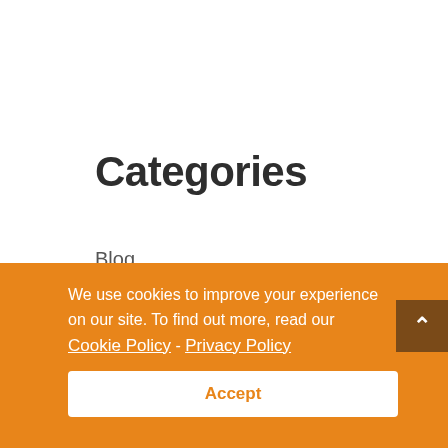Categories
Blog
Case Studies
Culture
Events & Announcements
We use cookies to improve your experience on our site. To find out more, read our Cookie Policy - Privacy Policy
Accept
Tags